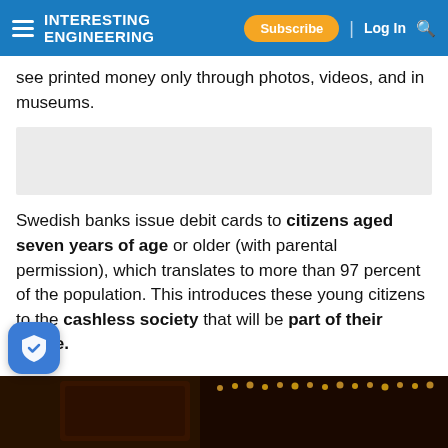INTERESTING ENGINEERING — Subscribe | Log In
see printed money only through photos, videos, and in museums.
Swedish banks issue debit cards to citizens aged seven years of age or older (with parental permission), which translates to more than 97 percent of the population. This introduces these young citizens to the cashless society that will be part of their future.
There is no need for carrying cash in Stockholm today
[Figure (photo): Dark-toned photo showing what appears to be a decorative box or case with gold/amber lights along the edge, against a dark background.]